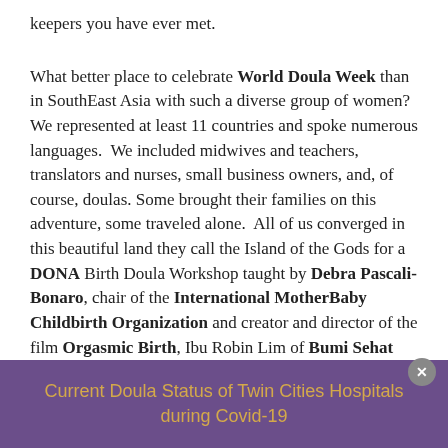keepers you have ever met.
What better place to celebrate World Doula Week than in SouthEast Asia with such a diverse group of women?  We represented at least 11 countries and spoke numerous languages.  We included midwives and teachers, translators and nurses, small business owners, and, of course, doulas. Some brought their families on this adventure, some traveled alone.  All of us converged in this beautiful land they call the Island of the Gods for a DONA Birth Doula Workshop taught by Debra Pascali-Bonaro, chair of the International MotherBaby Childbirth Organization and creator and director of the film Orgasmic Birth, Ibu Robin Lim of Bumi Sehat International and CNN's Hero of the Year
Current Doula Status of Twin Cities Hospitals during Covid-19